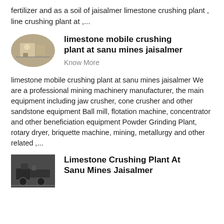fertilizer and as a soil of jaisalmer limestone crushing plant , line crushing plant at ,...
limestone mobile crushing plant at sanu mines jaisalmer
Know More
[Figure (photo): Oval-shaped thumbnail photo of a limestone/mining crushing plant machinery]
limestone mobile crushing plant at sanu mines jaisalmer We are a professional mining machinery manufacturer, the main equipment including jaw crusher, cone crusher and other sandstone equipment Ball mill, flotation machine, concentrator and other beneficiation equipment Powder Grinding Plant, rotary dryer, briquette machine, mining, metallurgy and other related ,...
Limestone Crushing Plant At Sanu Mines Jaisalmer
[Figure (photo): Thumbnail photo of limestone crushing plant machinery at Sanu Mines Jaisalmer]